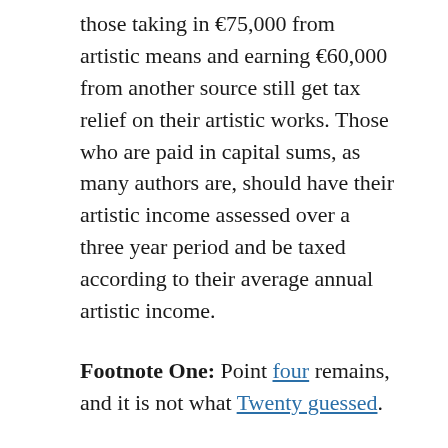those taking in €75,000 from artistic means and earning €60,000 from another source still get tax relief on their artistic works. Those who are paid in capital sums, as many authors are, should have their artistic income assessed over a three year period and be taxed according to their average annual artistic income.
Footnote One: Point four remains, and it is not what Twenty guessed.
Footnote Two: Other prior claimants include Labour deputy Ruiari Quinn, Conor Cruise-O'Brien and other respected journalists, most of whom claimed on income from books, though a small few did – arguably in a